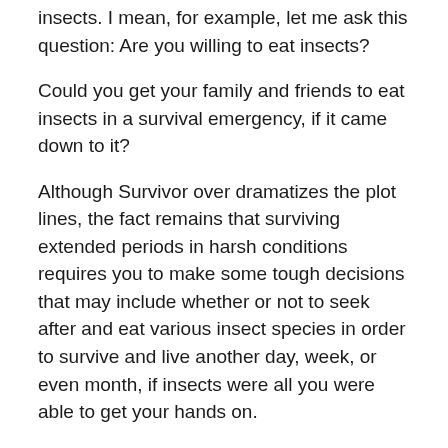insects. I mean, for example, let me ask this question: Are you willing to eat insects?
Could you get your family and friends to eat insects in a survival emergency, if it came down to it?
Although Survivor over dramatizes the plot lines, the fact remains that surviving extended periods in harsh conditions requires you to make some tough decisions that may include whether or not to seek after and eat various insect species in order to survive and live another day, week, or even month, if insects were all you were able to get your hands on.